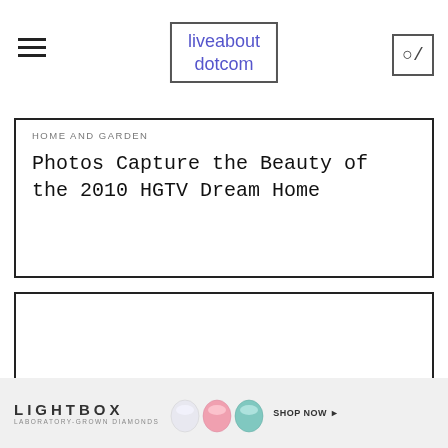liveabout dotcom
HOME AND GARDEN
Photos Capture the Beauty of the 2010 HGTV Dream Home
[Figure (illustration): Empty white image area placeholder in card]
21 Things You Didn't Know About Pumpkins
[Figure (illustration): Lightbox Laboratory-Grown Diamonds advertisement banner with gem images and SHOP NOW button]